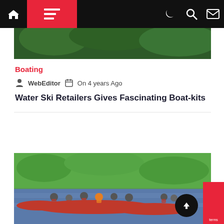Navigation bar with home, menu, moon/dark mode, search, and mail icons
[Figure (photo): Partial top image — green foliage/trees, top portion of an outdoor scene]
Boating
WebEditor  On 4 years Ago
Water Ski Retailers Gives Fascinating Boat-kits
[Figure (photo): Group of people in red life jackets paddling red canoes/kayaks on a river with green grass and trees in the background]